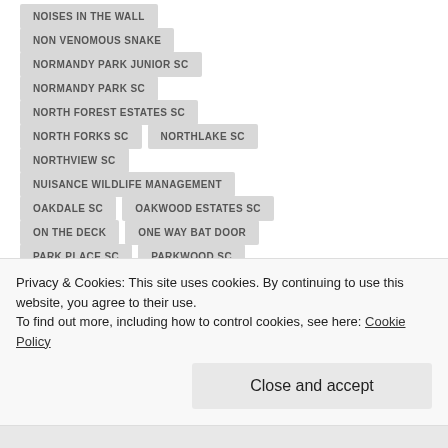NOISES IN THE WALL
NON VENOMOUS SNAKE
NORMANDY PARK JUNIOR SC
NORMANDY PARK SC
NORTH FOREST ESTATES SC
NORTH FORKS SC
NORTHLAKE SC
NORTHVIEW SC
NUISANCE WILDLIFE MANAGEMENT
OAKDALE SC
OAKWOOD ESTATES SC
ON THE DECK
ONE WAY BAT DOOR
PARK PLACE SC
PARKWOOD SC
Privacy & Cookies: This site uses cookies. By continuing to use this website, you agree to their use.
To find out more, including how to control cookies, see here: Cookie Policy
Close and accept